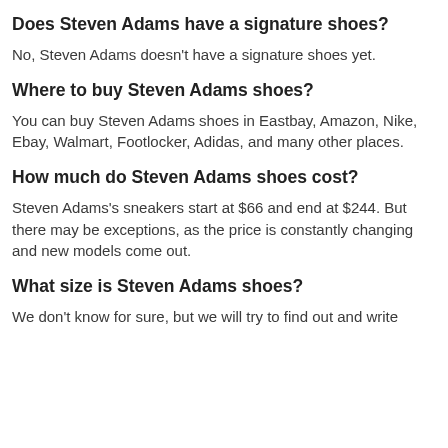Does Steven Adams have a signature shoes?
No, Steven Adams doesn't have a signature shoes yet.
Where to buy Steven Adams shoes?
You can buy Steven Adams shoes in Eastbay, Amazon, Nike, Ebay, Walmart, Footlocker, Adidas, and many other places.
How much do Steven Adams shoes cost?
Steven Adams's sneakers start at $66 and end at $244. But there may be exceptions, as the price is constantly changing and new models come out.
What size is Steven Adams shoes?
We don't know for sure, but we will try to find out and write